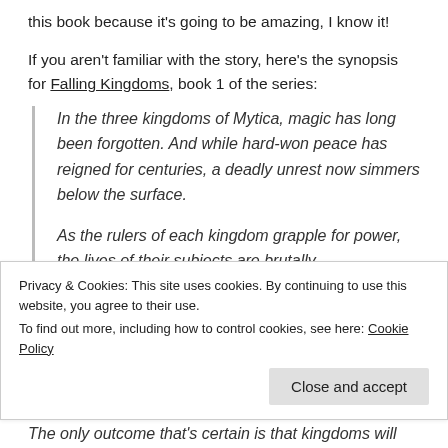this book because it's going to be amazing, I know it!
If you aren't familiar with the story, here's the synopsis for Falling Kingdoms, book 1 of the series:
In the three kingdoms of Mytica, magic has long been forgotten. And while hard-won peace has reigned for centuries, a deadly unrest now simmers below the surface.
As the rulers of each kingdom grapple for power, the lives of their subjects are brutally transformed… and four key players, royals and rebels alike, find their fate forever intertwined. Shorter version here…
Privacy & Cookies: This site uses cookies. By continuing to use this website, you agree to their use. To find out more, including how to control cookies, see here: Cookie Policy
The only outcome that's certain is that kingdoms will